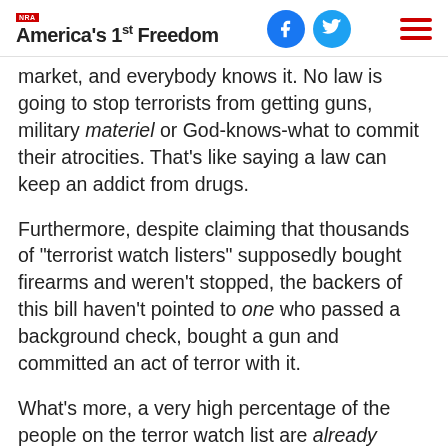NRA America's 1st Freedom
market, and everybody knows it. No law is going to stop terrorists from getting guns, military materiel or God-knows-what to commit their atrocities. That's like saying a law can keep an addict from drugs.
Furthermore, despite claiming that thousands of “terrorist watch listers” supposedly bought firearms and weren’t stopped, the backers of this bill haven’t pointed to one who passed a background check, bought a gun and committed an act of terror with it.
What’s more, a very high percentage of the people on the terror watch list are already barred from buying guns in the U.S. because they’re not U.S.